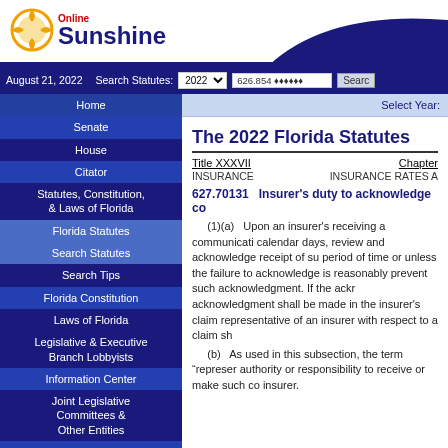[Figure (logo): Online Sunshine logo with sun graphic]
August 21, 2022  Search Statutes: 2022  626.854  Search
The 2022 Florida Statutes
Title XXXVII INSURANCE    Chapter INSURANCE RATES A
627.70131   Insurer's duty to acknowledge co
(1)(a)   Upon an insurer's receiving a communicat... calendar days, review and acknowledge receipt of su... period of time or unless the failure to acknowledge is... reasonably prevent such acknowledgment. If the ackr... acknowledgment shall be made in the insurer's claim... representative of an insurer with respect to a claim sh
(b)   As used in this subsection, the term "represer... authority or responsibility to receive or make such co... insurer.